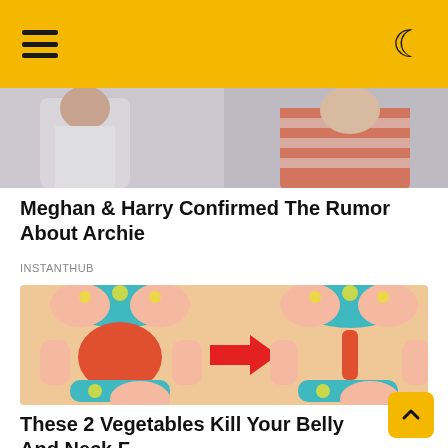≡ ☾
[Figure (photo): Photo of two people, partially cropped — appears to show a person in a white shirt and another in a striped top]
Meghan & Harry Confirmed The Rumor About Archie
INSTANTHUB
[Figure (illustration): Illustration showing before-and-after of belly fat reduction — two cartoon female figures in teal bikinis with pineapple print, a red arrow between them indicating transformation]
These 2 Vegetables Kill Your Belly And Neck Fat Overnight!